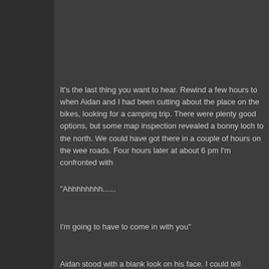It's the last thing you want to hear. Rewind a few hours to when Aidan and I had been cutting about the place on the bikes, looking for a camping trip. There were plenty good options, but some map inspection revealed a bonny loch to the north. We could have got there in a couple of hours on the wee roads. Four hours later at about 6 pm I'm confronted with
"Ahhhhhhhh......
I'm going to have to come in with you"
Aidan stood with a blank look on his face. I could tell exactly what had happened. He had forgotten his fucking tent poles.
"How the fuck?? How the fuck do you manage to come on a ca...
I frantically wracked my brains for a solution. We can go to Tim's place, it's not far away! We can make tent poles out of sticks! We will use your fly sheet! The reality was I'd have to share my peaceful tent with Aidan's farts and snores. Still, the weather was great. We'd had an amazing run up through the Glen Quaich road where we cut off at Loch Tay. The scenery was stunning, the snow on the hills providing great contrast to the spring colo...